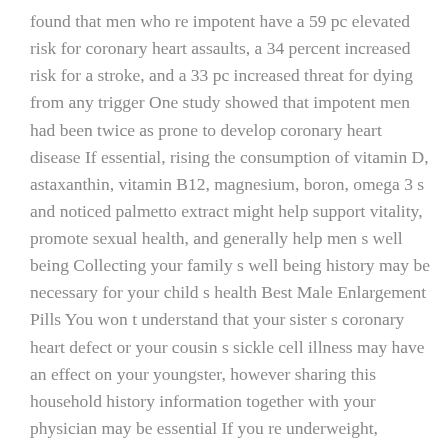found that men who re impotent have a 59 pc elevated risk for coronary heart assaults, a 34 percent increased risk for a stroke, and a 33 pc increased threat for dying from any trigger One study showed that impotent men had been twice as prone to develop coronary heart disease If essential, rising the consumption of vitamin D, astaxanthin, vitamin B12, magnesium, boron, omega 3 s and noticed palmetto extract might help support vitality, promote sexual health, and generally help men s well being Collecting your family s well being history may be necessary for your child s health Best Male Enlargement Pills You won t understand that your sister s coronary heart defect or your cousin s sickle cell illness may have an effect on your youngster, however sharing this household history information together with your physician may be essential If you re underweight, chubby, or overweight, discuss together with your doctor or one other health professional about ways to reach and preserve a wholesome weight.